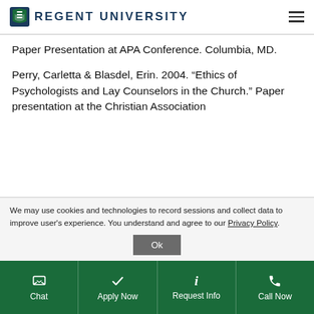Regent University
Paper Presentation at APA Conference. Columbia, MD.
Perry, Carletta & Blasdel, Erin. 2004. “Ethics of Psychologists and Lay Counselors in the Church.” Paper presentation at the Christian Association
We may use cookies and technologies to record sessions and collect data to improve user’s experience. You understand and agree to our Privacy Policy.
Chat | Apply Now | Request Info | Call Now